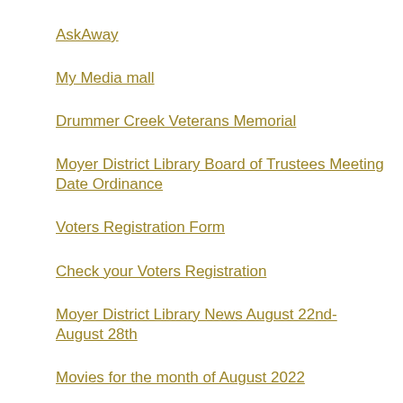AskAway
My Media mall
Drummer Creek Veterans Memorial
Moyer District Library Board of Trustees Meeting Date Ordinance
Voters Registration Form
Check your Voters Registration
Moyer District Library News August 22nd- August 28th
Movies for the month of August 2022
3M Cloud Library